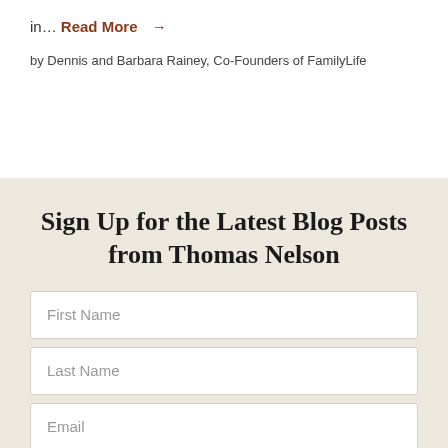in… Read More →
by Dennis and Barbara Rainey, Co-Founders of FamilyLife
Sign Up for the Latest Blog Posts from Thomas Nelson
First Name
Last Name
Email